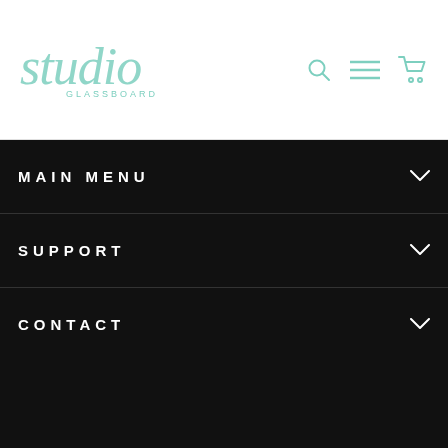studio GLASSBOARD
Floral Goa
from $49.99
MAIN MENU
SUPPORT
CONTACT